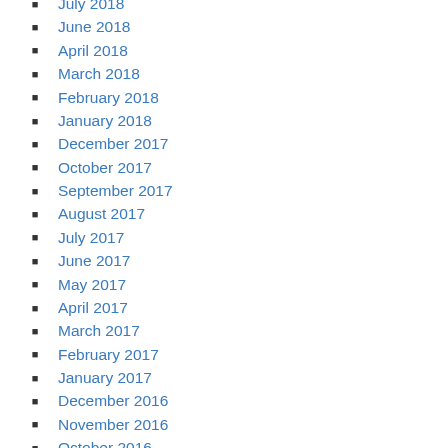July 2018
June 2018
April 2018
March 2018
February 2018
January 2018
December 2017
October 2017
September 2017
August 2017
July 2017
June 2017
May 2017
April 2017
March 2017
February 2017
January 2017
December 2016
November 2016
October 2016
September 2016
August 2016
July 2016
June 2016
May 2016